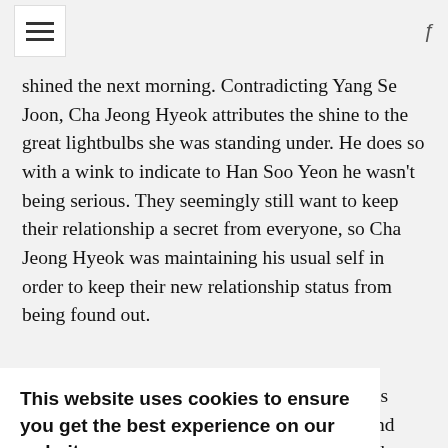≡ (hamburger menu) / search icon
shined the next morning. Contradicting Yang Se Joon, Cha Jeong Hyeok attributes the shine to the great lightbulbs she was standing under. He does so with a wink to indicate to Han Soo Yeon he wasn't being serious. They seemingly still want to keep their relationship a secret from everyone, so Cha Jeong Hyeok was maintaining his usual self in order to keep their new relationship status from being found out.
is nd them g Se for the ie
This website uses cookies to ensure you get the best experience on our website. Learn more Got it!